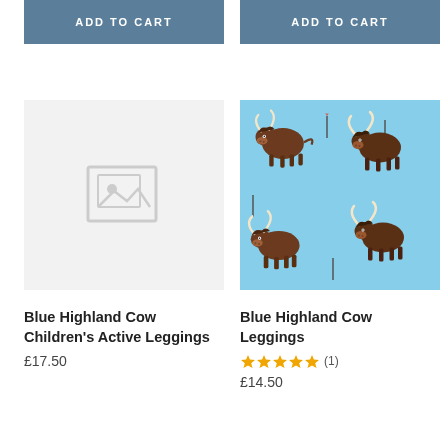ADD TO CART
ADD TO CART
[Figure (photo): Placeholder image (no image available) for Blue Highland Cow Children's Active Leggings product listing]
[Figure (photo): Blue Highland Cow pattern fabric showing cartoon highland cows with long horns on a light blue background with red heart flowers]
Blue Highland Cow Children's Active Leggings
£17.50
Blue Highland Cow Leggings
★★★★★ (1)
£14.50